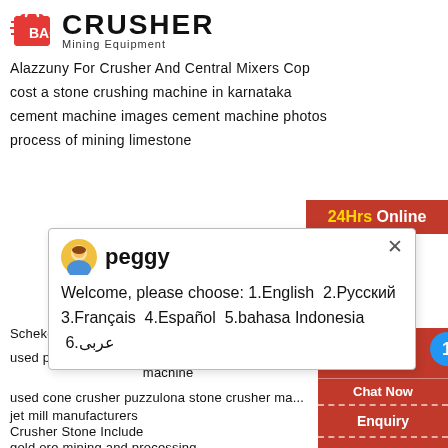[Figure (logo): Crusher Mining Equipment logo with red shopping bag icon and bold text]
Alazzuny For Crusher And Central Mixers Cop
cost a stone crushing machine in karnataka
cement machine images cement machine photos
process of mining limestone
[Figure (screenshot): Chat popup with agent named peggy showing welcome message in multiple languages]
Schekovaya Drobinka Diya Khamera - Pakist...
used portable concrete batch plant for sale s... machine
used cone crusher puzzulona stone crusher ma...
jet mill manufacturers
Crusher Stone Include
gold ore mining and processing